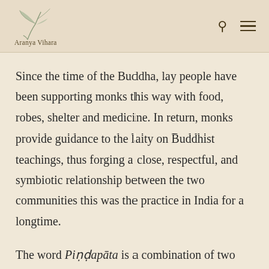Aranya Vihara
Since the time of the Buddha, lay people have been supporting monks this way with food, robes, shelter and medicine. In return, monks provide guidance to the laity on Buddhist teachings, thus forging a close, respectful, and symbiotic relationship between the two communities this was the practice in India for a longtime.
The word Piṇḍapāta is a combination of two words Piṇḍa and pāta. Piṇḍa means lump of food and pāta means bowl. So...